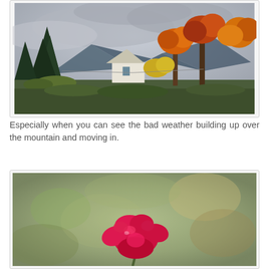[Figure (photo): Autumn landscape photograph showing coniferous and deciduous trees with orange and red fall foliage, a white house with peaked roof in the middle ground, and mountains in the background under a cloudy grey sky.]
Especially when you can see the bad weather building up over the mountain and moving in.
[Figure (photo): Close-up photograph of a bright red/magenta flower (appears to be a snapdragon or similar) against a soft blurred green and brown bokeh background.]